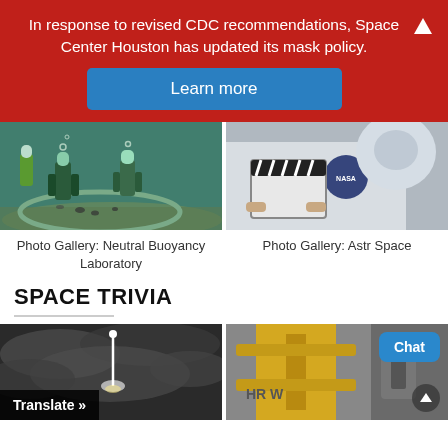In response to revised CDC recommendations, Space Center Houston has updated its mask policy.
Learn more
[Figure (photo): Underwater photo of divers/astronauts in a neutral buoyancy pool, simulating spacewalk training.]
Photo Gallery: Neutral Buoyancy Laboratory
[Figure (photo): Person in a NASA space suit holding a clapperboard, with NASA logos visible.]
Photo Gallery: Astro Space
SPACE TRIVIA
[Figure (photo): Black and white photo of a rocket launch through cloudy sky with a bright light streak.]
Translate »
[Figure (photo): Photo showing yellow machinery or equipment with partial text HR W visible.]
Chat